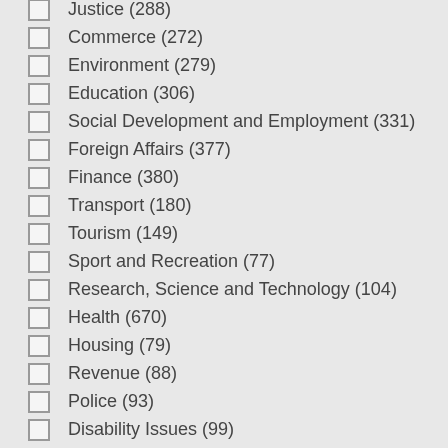Justice (288)
Commerce (272)
Environment (279)
Education (306)
Social Development and Employment (331)
Foreign Affairs (377)
Finance (380)
Transport (180)
Tourism (149)
Sport and Recreation (77)
Research, Science and Technology (104)
Health (670)
Housing (79)
Revenue (88)
Police (93)
Disability Issues (99)